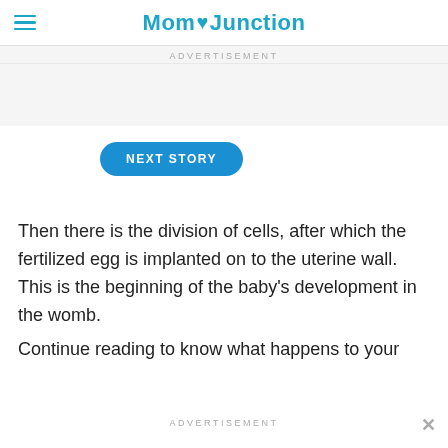MomJunction
ADVERTISEMENT
NEXT STORY
Then there is the division of cells, after which the fertilized egg is implanted on to the uterine wall. This is the beginning of the baby's development in the womb.
Continue reading to know what happens to your
ADVERTISEMENT